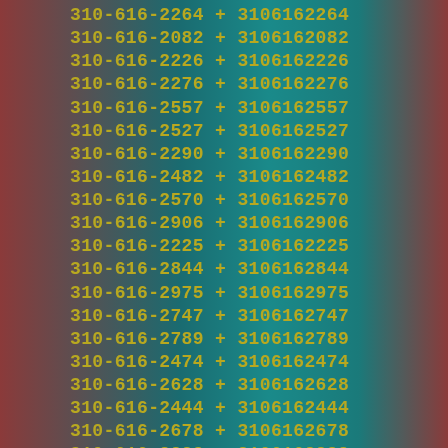310-616-2264 + 3106162264
310-616-2082 + 3106162082
310-616-2226 + 3106162226
310-616-2276 + 3106162276
310-616-2557 + 3106162557
310-616-2527 + 3106162527
310-616-2290 + 3106162290
310-616-2482 + 3106162482
310-616-2570 + 3106162570
310-616-2906 + 3106162906
310-616-2225 + 3106162225
310-616-2844 + 3106162844
310-616-2975 + 3106162975
310-616-2747 + 3106162747
310-616-2789 + 3106162789
310-616-2474 + 3106162474
310-616-2628 + 3106162628
310-616-2444 + 3106162444
310-616-2678 + 3106162678
310-616-2222 + 3106162222
310-616-2713 + 3106162713
310-616-2062 + 3106162062
310-616-2175 + 3106162175